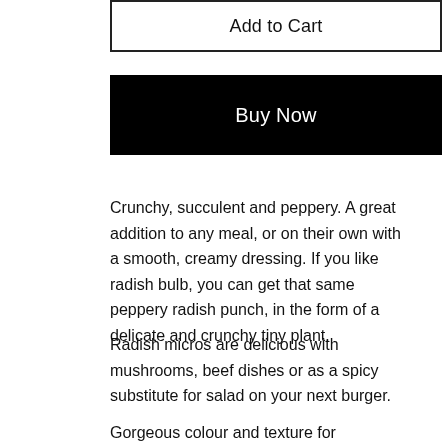Add to Cart
Buy Now
Crunchy, succulent and peppery. A great addition to any meal, or on their own with a smooth, creamy dressing. If you like radish bulb, you can get that same peppery radish punch, in the form of a delicate and crunchy tiny plant.
Radish micros are delicious with mushrooms, beef dishes or as a spicy substitute for salad on your next burger.
Gorgeous colour and texture for